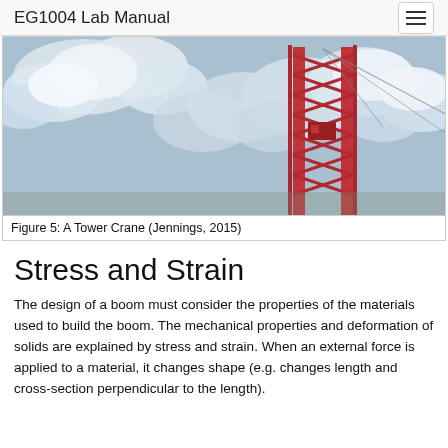EG1004 Lab Manual
[Figure (photo): Photograph of a tower crane against a partly cloudy blue sky]
Figure 5: A Tower Crane (Jennings, 2015)
Stress and Strain
The design of a boom must consider the properties of the materials used to build the boom. The mechanical properties and deformation of solids are explained by stress and strain. When an external force is applied to a material, it changes shape (e.g. changes length and cross-section perpendicular to the length).